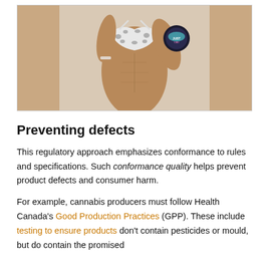[Figure (photo): A fitness model wearing a leopard-print bikini top, showing muscular physique, holding a dark circular product container with pink and teal label. The image is cropped to show torso and upper body.]
Preventing defects
This regulatory approach emphasizes conformance to rules and specifications. Such conformance quality helps prevent product defects and consumer harm.
For example, cannabis producers must follow Health Canada's Good Production Practices (GPP). These include testing to ensure products don't contain pesticides or mould, but do contain the promised